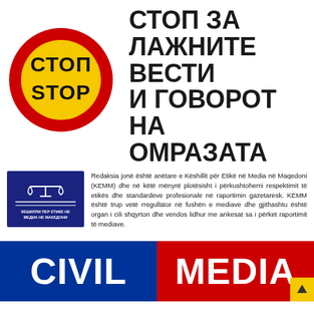[Figure (logo): STOP sign: red octagon/circle with yellow circle inside, black bold text СТОП on top and STOP below]
СТОП ЗА ЛАЖНИТЕ ВЕСТИ И ГОВОРОТ НА ОМРАЗАТА
[Figure (logo): КЕШИЛЛИ ПЕР ЕТИКЕ НЕ МЕДИА НЕ МАКЕДОНИ (KEMM) logo — dark blue rectangle with Libra/scales symbol and white text]
Redaksia jonë është anëtare e Këshillit për Etikë në Media në Maqedoni (KEMM) dhe në këtë mënyrë plotësisht i përkushtohemi respektimit të etikës dhe standardeve profesionale në raportimin gazetaresk. KEMM është trup vetë rregullator në fushën e mediave dhe gjithashtu është organ i cili shqyrton dhe vendos lidhur me ankesat sa i përket raportimit të mediave.
[Figure (logo): CIVIL MEDIA logo: blue background left half with white text CIVIL, red background right half with white text MEDIA]